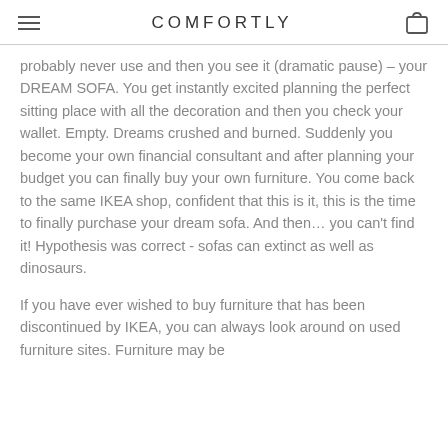COMFORTLY
probably never use and then you see it (dramatic pause) – your DREAM SOFA. You get instantly excited planning the perfect sitting place with all the decoration and then you check your wallet. Empty. Dreams crushed and burned. Suddenly you become your own financial consultant and after planning your budget you can finally buy your own furniture. You come back to the same IKEA shop, confident that this is it, this is the time to finally purchase your dream sofa. And then… you can't find it! Hypothesis was correct - sofas can extinct as well as dinosaurs.
If you have ever wished to buy furniture that has been discontinued by IKEA, you can always look around on used furniture sites. Furniture may be